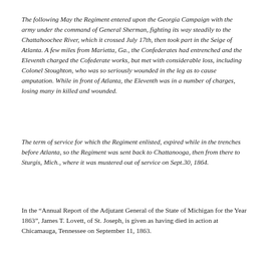The following May the Regiment entered upon the Georgia Campaign with the army under the command of General Sherman, fighting its way steadily to the Chattahoochee River, which it crossed July 17th, then took part in the Seige of Atlanta. A few miles from Marietta, Ga., the Confederates had entrenched and the Eleventh charged the Cofederate works, but met with considerable loss, including Colonel Stoughton, who was so seriously wounded in the leg as to cause amputation. While in front of Atlanta, the Eleventh was in a number of charges, losing many in killed and wounded.
The term of service for which the Regiment enlisted, expired while in the trenches before Atlanta, so the Regiment was sent back to Chattanooga, then from there to Sturgis, Mich., where it was mustered out of service on Sept.30, 1864.
In the “Annual Report of the Adjutant General of the State of Michigan for the Year 1863”, James T. Lovett, of St. Joseph, is given as having died in action at Chicamauga, Tennessee on September 11, 1863.